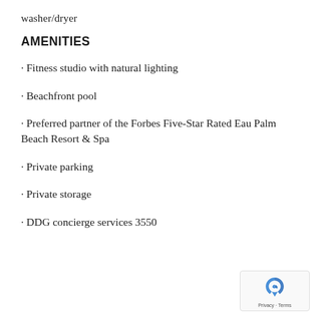washer/dryer
AMENITIES
· Fitness studio with natural lighting
· Beachfront pool
· Preferred partner of the Forbes Five-Star Rated Eau Palm Beach Resort & Spa
· Private parking
· Private storage
· DDG concierge services 3550